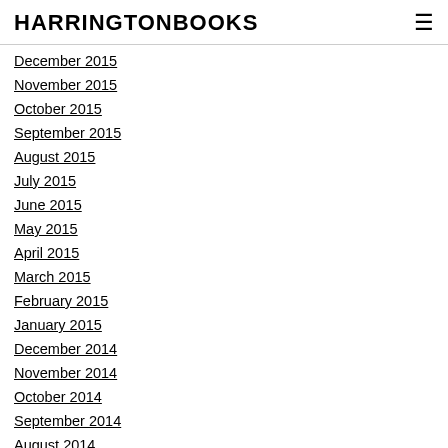HARRINGTONBOOKS
December 2015
November 2015
October 2015
September 2015
August 2015
July 2015
June 2015
May 2015
April 2015
March 2015
February 2015
January 2015
December 2014
November 2014
October 2014
September 2014
August 2014